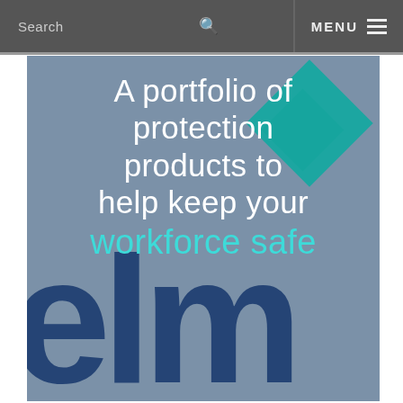Search  MENU
[Figure (illustration): Hero banner with blue-grey background showing the ELM logo watermark in dark navy behind white text reading 'A portfolio of protection products to help keep your workforce safe' with a teal/dark teal diamond shape in the upper right area.]